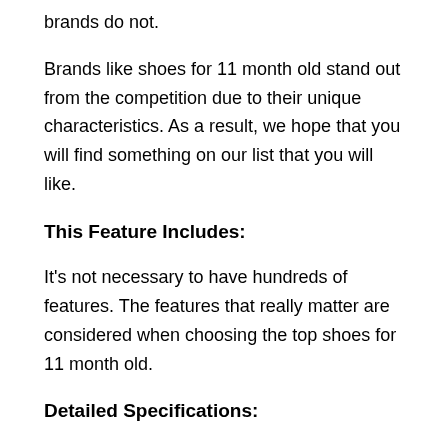brands do not.
Brands like shoes for 11 month old stand out from the competition due to their unique characteristics. As a result, we hope that you will find something on our list that you will like.
This Feature Includes:
It's not necessary to have hundreds of features. The features that really matter are considered when choosing the top shoes for 11 month old.
Detailed Specifications:
When you have numbers at your disposal, you